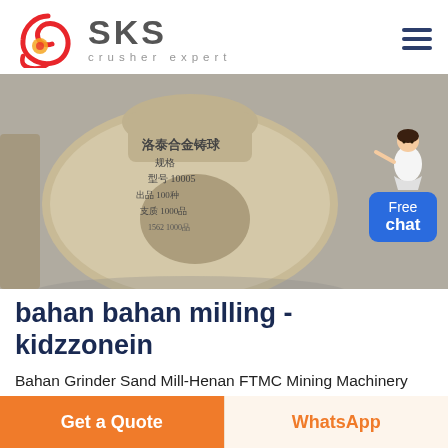[Figure (logo): SKS crusher expert logo with red swirl emblem and grey SKS text]
[Figure (photo): Large burlap/woven sack with Chinese text characters, industrial setting, grey floor background]
bahan bahan milling - kidzzonein
Bahan Grinder Sand Mill-Henan FTMC Mining Machinery bahan grinder sand mill bahan grinder sand mill is one of the products of